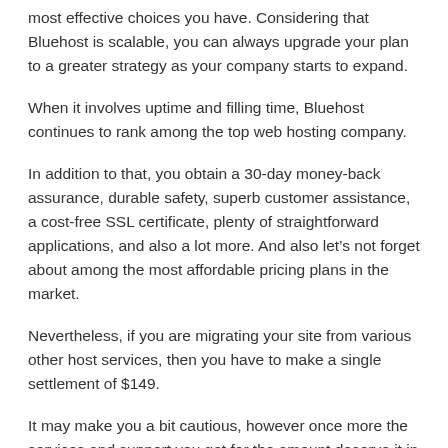most effective choices you have. Considering that Bluehost is scalable, you can always upgrade your plan to a greater strategy as your company starts to expand.
When it involves uptime and filling time, Bluehost continues to rank among the top web hosting company.
In addition to that, you obtain a 30-day money-back assurance, durable safety, superb customer assistance, a cost-free SSL certificate, plenty of straightforward applications, and also a lot more. And also let’s not forget about among the most affordable pricing plans in the market.
Nevertheless, if you are migrating your site from various other host services, then you have to make a single settlement of $149.
It may make you a bit cautious, however once more the services and support you get for the amount deserve it in the end.